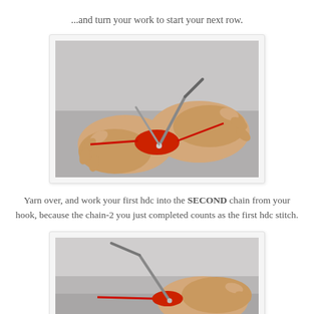...and turn your work to start your next row.
[Figure (photo): Two hands holding knitting needles with red yarn, showing a small piece of crocheted fabric being worked on.]
Yarn over, and work your first hdc into the SECOND chain from your hook, because the chain-2 you just completed counts as the first hdc stitch.
[Figure (photo): Hands holding a crochet hook with red yarn, working the first hdc stitch into a chain.]